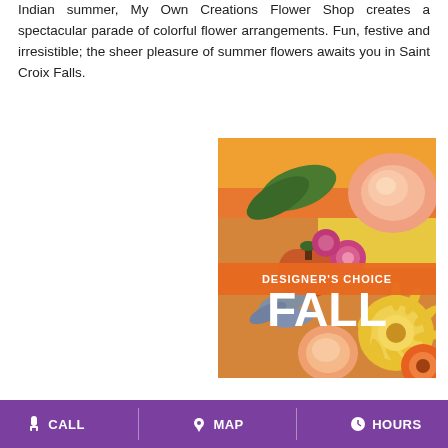Indian summer, My Own Creations Flower Shop creates a spectacular parade of colorful flower arrangements. Fun, festive and irresistible; the sheer pleasure of summer flowers awaits you in Saint Croix Falls.
[Figure (photo): Fall flower arrangement photo with text overlay reading DESIGNER'S CHOICE and FALL in large white letters on an orange background banner. Photo shows roses, chrysanthemums, gerberas, a pumpkin and autumn foliage.]
Fall Flowers
CALL   MAP   HOURS